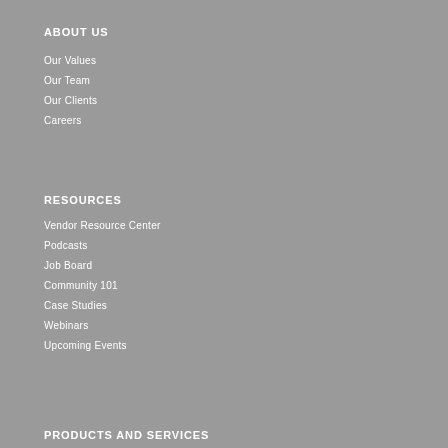ABOUT US
Our Values
Our Team
Our Clients
Careers
RESOURCES
Vendor Resource Center
Podcasts
Job Board
Community 101
Case Studies
Webinars
Upcoming Events
PRODUCTS AND SERVICES